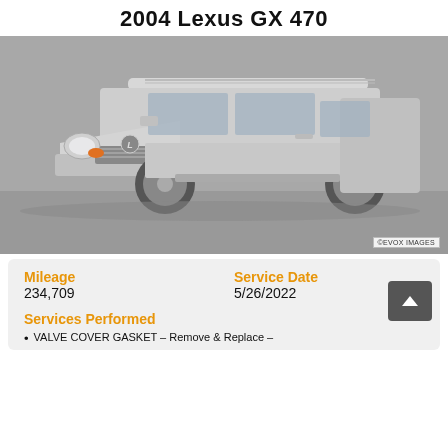2004 Lexus GX 470
[Figure (photo): Silver 2004 Lexus GX 470 SUV photographed at a 3/4 front angle on a gray background. EVOX IMAGES watermark in bottom right.]
Mileage
234,709
Service Date
5/26/2022
Services Performed
VALVE COVER GASKET – Remove & Replace –